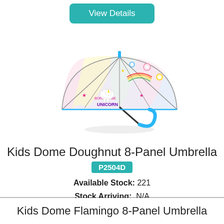View Details
[Figure (photo): Kids dome umbrella with clear transparent canopy printed with unicorn/doughnut pattern in pink, rainbow, and multicolor. Blue curved handle and blue tip.]
Kids Dome Doughnut 8-Panel Umbrella
P2504D
Available Stock: 221
Stock Arriving: N/A
View Details
Kids Dome Flamingo 8-Panel Umbrella